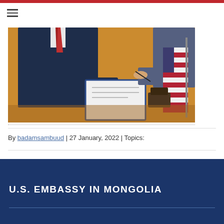[Figure (photo): Two people at a table signing documents, with an American flag in the background on a wooden table]
By badamsambuud | 27 January, 2022 | Topics:
U.S. EMBASSY IN MONGOLIA